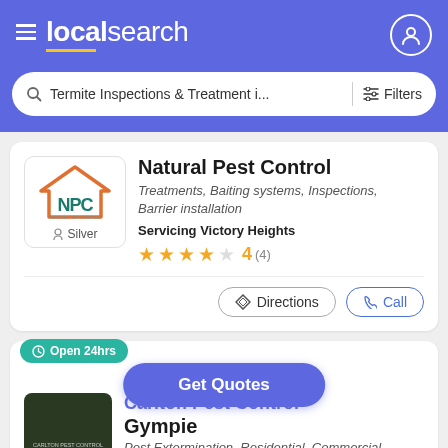localsearch
Termite Inspections & Treatment i... Filters
Natural Pest Control
Treatments, Baiting systems, Inspections, Barrier installation
Servicing Victory Heights
4 (4)
Directions  Call
Open 24hrs
Get Quotes
Carlton Pest Control Gympie
Pest Extermination, Residential, Commercial,